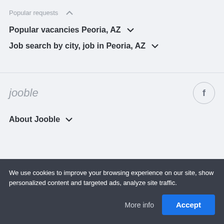Popular requests ∧
Popular vacancies Peoria, AZ ∨
Job search by city, job in Peoria, AZ ∨
[Figure (logo): Jooble logo in gray italic text]
About Jooble ∨
We use cookies to improve your browsing experience on our site, show personalized content and targeted ads, analyze site traffic.
More info
Accept